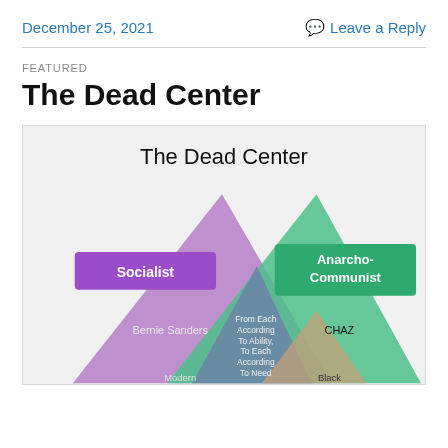December 25, 2021   Leave a Reply
FEATURED
The Dead Center
[Figure (infographic): An infographic titled 'The Dead Center' showing overlapping triangles representing political ideologies. Visible labels include 'Socialist' (purple box, left), 'Anarcho-Communist' (green box, right), 'Bernie Sanders' (on left purple triangle), 'CHAZ' (on right green triangle), 'From Each According To Ability, To Each According To Need' (center overlap area), and partially visible labels 'Modern' and 'Black' at the bottom.]